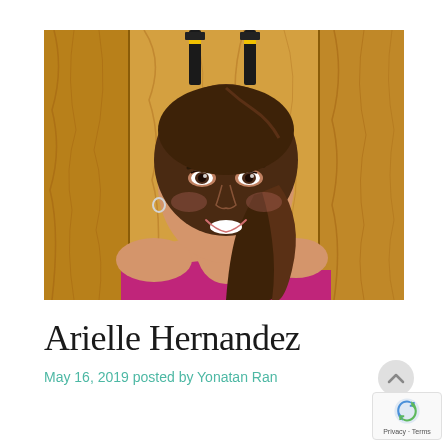[Figure (photo): Portrait photo of Arielle Hernandez, a young woman with long brown hair in a ponytail, smiling, wearing a magenta/pink athletic top, posed in front of a wooden plank wall background with TRX straps visible.]
Arielle Hernandez
May 16, 2019 posted by Yonatan Ran